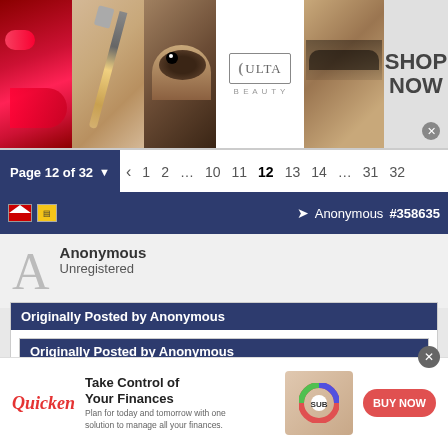[Figure (photo): Ulta Beauty advertisement banner showing makeup images (lips, brush, eye) and ULTA logo with SHOP NOW button]
Page 12 of 32   < 1 2 ... 10 11 12 13 14 ... 31 32
Anonymous  #358635
Anonymous
Unregistered
Originally Posted by Anonymous
Originally Posted by Anonymous
Maybe they should play in a real bracket, Queen tournament they moved down, thanks for making us all laugh.
[Figure (infographic): Quicken advertisement: Take Control of Your Finances - Plan for today and tomorrow with one solution to manage all your finances. BUY NOW button.]